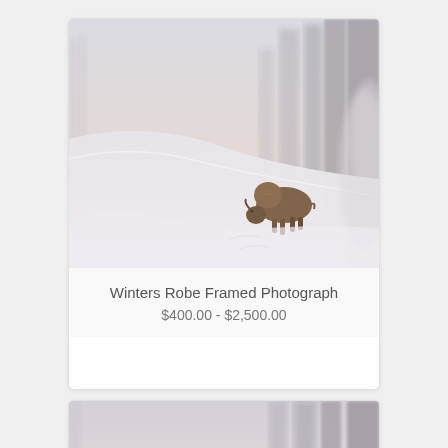[Figure (photo): A bison grazing in a snowy winter landscape with snow-covered trees and misty fog in the background, Yellowstone style scene]
Winters Robe Framed Photograph
$400.00 - $2,500.00
[Figure (photo): Partial view of a second winter landscape photograph, cropped at bottom of page, similar misty snowy scene with trees]